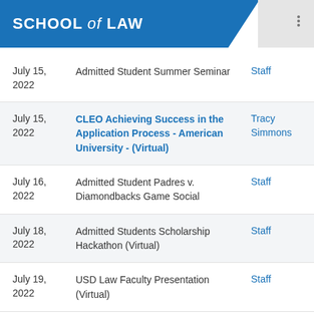SCHOOL of LAW
| Date | Event | Contact |
| --- | --- | --- |
| July 15, 2022 | Admitted Student Summer Seminar | Staff |
| July 15, 2022 | CLEO Achieving Success in the Application Process - American University - (Virtual) | Tracy Simmons |
| July 16, 2022 | Admitted Student Padres v. Diamondbacks Game Social | Staff |
| July 18, 2022 | Admitted Students Scholarship Hackathon (Virtual) | Staff |
| July 19, 2022 | USD Law Faculty Presentation (Virtual) | Staff |